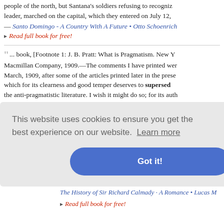people of the north, but Santana's soldiers refusing to recognize leader, marched on the capital, which they entered on July 12,
— Santo Domingo - A Country With A Future • Otto Schoenrich
▸ Read full book for free!
"... book, [Footnote 1: J. B. Pratt: What is Pragmatism. New Y Macmillan Company, 1909.—The comments I have printed were March, 1909, after some of the articles printed later in the prese which for its clearness and good temper deserves to supersede the anti-pragmatistic literature. I wish it might do so; for its auth essential contentions, simply distinguishing my account of truth pragmatism from Schiller's and Dewey's, which he calls pragma
— The Meaning of Truth • William James
▸ Read full book for free!
d. "But—if l, of course e assistance e to manage
The History of Sir Richard Calmady • A Romance • Lucas M
▸ Read full book for free!
This website uses cookies to ensure you get the best experience on our website. Learn more
Got it!